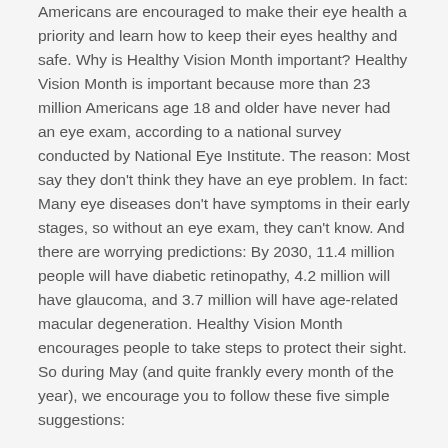Americans are encouraged to make their eye health a priority and learn how to keep their eyes healthy and safe. Why is Healthy Vision Month important? Healthy Vision Month is important because more than 23 million Americans age 18 and older have never had an eye exam, according to a national survey conducted by National Eye Institute. The reason: Most say they don't think they have an eye problem. In fact: Many eye diseases don't have symptoms in their early stages, so without an eye exam, they can't know. And there are worrying predictions: By 2030, 11.4 million people will have diabetic retinopathy, 4.2 million will have glaucoma, and 3.7 million will have age-related macular degeneration. Healthy Vision Month encourages people to take steps to protect their sight. So during May (and quite frankly every month of the year), we encourage you to follow these five simple suggestions:
Live a Healthy Lifestyle: Maintain a healthy weight and eat foods like fish and dark leafy green vegetables to lower your risk of eye disease. And don't smoke—it's as bad for your eyes as it is for